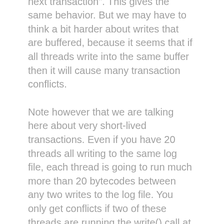current transaction" and "start the next transaction". This gives the same behavior. But we may have to think a bit harder about writes that are buffered, because it seems that if all threads write into the same buffer then it will cause many transaction conflicts.
Note however that we are talking here about very short-lived transactions. Even if you have 20 threads all writing to the same log file, each thread is going to run much more than 20 bytecodes between any two writes to the log file. You only get conflicts if two of these threads are running the write() call at the same time, and such a conflict only causes one of the threads to roll back and retry the write(), not more.